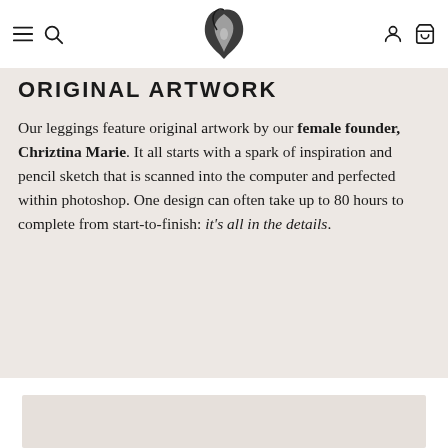Navigation bar with menu, search, logo, account, and cart icons
ORIGINAL ARTWORK
Our leggings feature original artwork by our female founder, Chriztina Marie. It all starts with a spark of inspiration and pencil sketch that is scanned into the computer and perfected within photoshop. One design can often take up to 80 hours to complete from start-to-finish: it's all in the details.
[Figure (other): Partially visible card/image placeholder at bottom of page on white background]